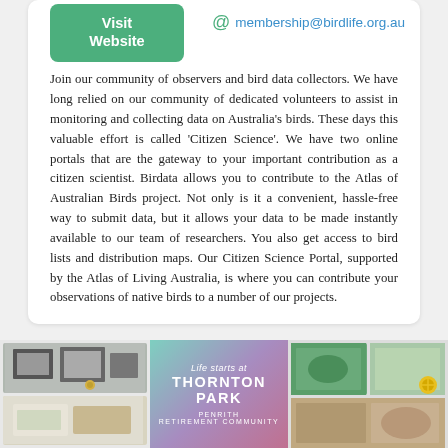[Figure (other): Green 'Visit Website' button]
membership@birdlife.org.au
Join our community of observers and bird data collectors. We have long relied on our community of dedicated volunteers to assist in monitoring and collecting data on Australia's birds. These days this valuable effort is called 'Citizen Science'. We have two online portals that are the gateway to your important contribution as a citizen scientist. Birdata allows you to contribute to the Atlas of Australian Birds project. Not only is it a convenient, hassle-free way to submit data, but it allows your data to be made instantly available to our team of researchers. You also get access to bird lists and distribution maps. Our Citizen Science Portal, supported by the Atlas of Living Australia, is where you can contribute your observations of native birds to a number of our projects.
[Figure (photo): Advertisement banner for 'Life starts at Thornton Park – Penrith Retirement Community' with lifestyle photos on left and right sides and gradient center panel]